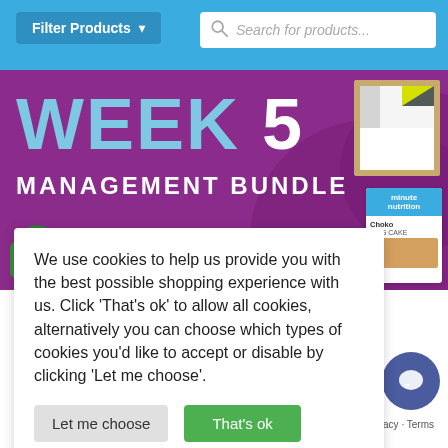[Figure (screenshot): E-commerce website header with 'Filter Products' dropdown button and a search bar labeled 'Search for products...']
[Figure (illustration): Promotional banner for 'Week 5 Management Bundle' with magenta/purple background, teal WEEK 5 text, white MANAGEMENT BUNDLE text, green plant, framed artwork, and product card]
We use cookies to help us provide you with the best possible shopping experience with us. Click ‘That’s ok’ to allow all cookies, alternatively you can choose which types of cookies you’d like to accept or disable by clicking ‘Let me choose’.
Let me choose
That's ok
£56.99